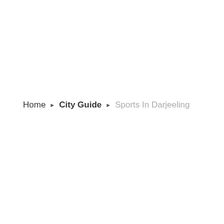Home ▶ City Guide ▶ Sports In Darjeeling